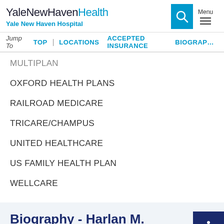YaleNewHavenHealth Yale New Haven Hospital
Jump To TOP | LOCATIONS ACCEPTED INSURANCE BIOGRAPHY
MULTIPLAN
OXFORD HEALTH PLANS
RAILROAD MEDICARE
TRICARE/CHAMPUS
UNITED HEALTHCARE
US FAMILY HEALTH PLAN
WELLCARE
Biography - Harlan M. Krumholz, MD